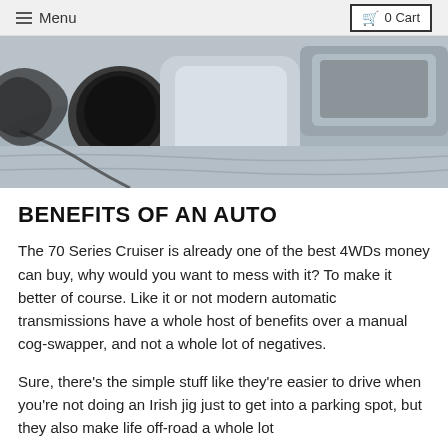Menu  0 Cart
[Figure (photo): Close-up photo of a car interior showing the center console, cup holder, and gear shift area with grey/blue upholstery.]
BENEFITS OF AN AUTO
The 70 Series Cruiser is already one of the best 4WDs money can buy, why would you want to mess with it? To make it better of course. Like it or not modern automatic transmissions have a whole host of benefits over a manual cog-swapper, and not a whole lot of negatives.
Sure, there's the simple stuff like they're easier to drive when you're not doing an Irish jig just to get into a parking spot, but they also make life off-road a whole lot